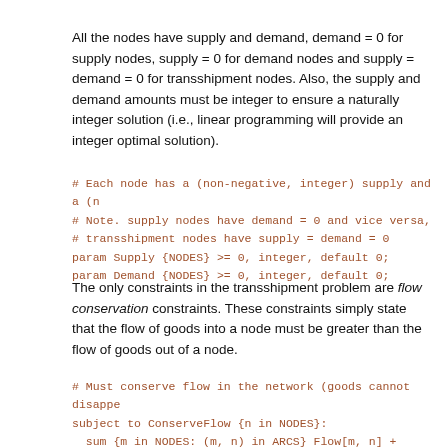All the nodes have supply and demand, demand = 0 for supply nodes, supply = 0 for demand nodes and supply = demand = 0 for transshipment nodes. Also, the supply and demand amounts must be integer to ensure a naturally integer solution (i.e., linear programming will provide an integer optimal solution).
# Each node has a (non-negative, integer) supply and a (n
# Note. supply nodes have demand = 0 and vice versa,
# transshipment nodes have supply = demand = 0
param Supply {NODES} >= 0, integer, default 0;
param Demand {NODES} >= 0, integer, default 0;
The only constraints in the transshipment problem are flow conservation constraints. These constraints simply state that the flow of goods into a node must be greater than the flow of goods out of a node.
# Must conserve flow in the network (goods cannot disappe
subject to ConserveFlow {n in NODES}:
  sum {m in NODES: (m, n) in ARCS} Flow[m, n] + Supply[n]
  sum {p in NODES: (n, p) in ARCS} Flow[n, p] + Demand[n]